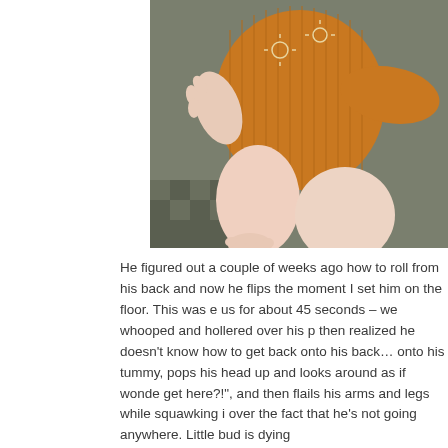[Figure (photo): Overhead view of a baby wearing an orange/amber ribbed onesie with white sun/cloud print, sitting on a gray/olive surface with chubby bare legs visible, photographed from above]
He figured out a couple of weeks ago how to roll from his back and now he flips the moment I set him on the floor.  This was e us for about 45 seconds – we whooped and hollered over his p then realized he doesn't know how to get back onto his back… onto his tummy, pops his head up and looks around as if wonde get here?!", and then flails his arms and legs while squawking i over the fact that he's not going anywhere.  Little bud is dying